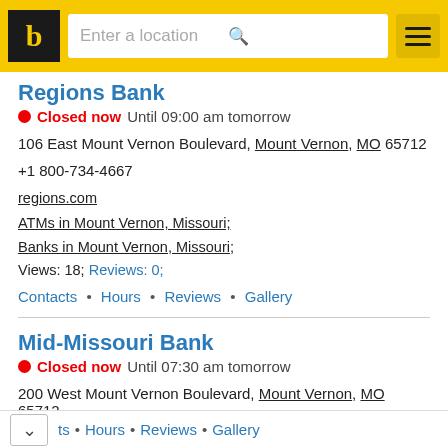b | Enter a location
Regions Bank
Closed now  Until 09:00 am tomorrow
106 East Mount Vernon Boulevard, Mount Vernon, MO 65712
+1 800-734-4667
regions.com
ATMs in Mount Vernon, Missouri;
Banks in Mount Vernon, Missouri;
Views: 18; Reviews: 0;
Contacts • Hours • Reviews • Gallery
Mid-Missouri Bank
Closed now  Until 07:30 am tomorrow
200 West Mount Vernon Boulevard, Mount Vernon, MO 65712
+1 417-466-3701
midmobank.com
ATMs in Mount Vernon, Missouri;
Banks in Mount Vernon, Missouri;
Views: 18; Reviews: 0;
ts • Hours • Reviews • Gallery